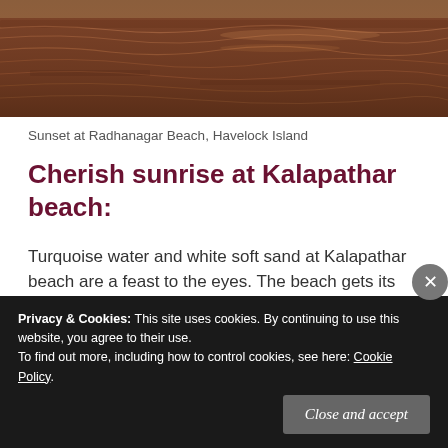[Figure (photo): Sunset over ocean water with reddish-brown tones, wave ripples visible on the surface, Radhanagar Beach, Havelock Island]
Sunset at Radhanagar Beach, Havelock Island
Cherish sunrise at Kalapathar beach:
Turquoise water and white soft sand at Kalapathar beach are a feast to the eyes. The beach gets its
Privacy & Cookies: This site uses cookies. By continuing to use this website, you agree to their use.
To find out more, including how to control cookies, see here: Cookie Policy
Close and accept